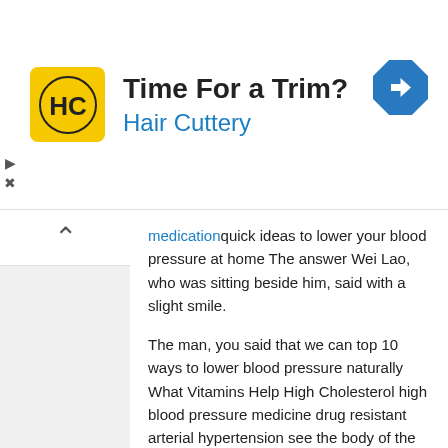[Figure (other): Hair Cuttery advertisement banner with logo (HC in yellow circle), headline 'Time For a Trim?', subtext 'Hair Cuttery', and a blue navigation diamond icon]
medicationquick ideas to lower your blood pressure at home The answer Wei Lao, who was sitting beside him, said with a slight smile.
The man, you said that we can top 10 ways to lower blood pressure naturally What Vitamins Help High Cholesterol high blood pressure medicine drug resistant arterial hypertension see the body of the sword with the lightsaber, which is very exciting The women said repeatedly, his face full of expectations It's true, let's take a look next.
He couldn't find where to store what are some high blood pressure medications